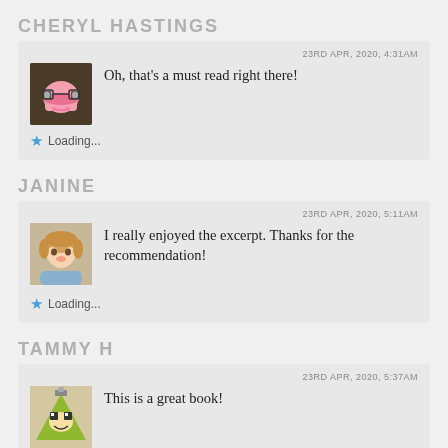CHERYL HASTINGS
23RD APR, 2020, 4:31AM
Oh, that's a must read right there!
Loading...
JANINE
23RD APR, 2020, 5:11AM
I really enjoyed the excerpt. Thanks for the recommendation!
Loading...
TAMMY H
23RD APR, 2020, 5:37AM
This is a great book!
Loading...